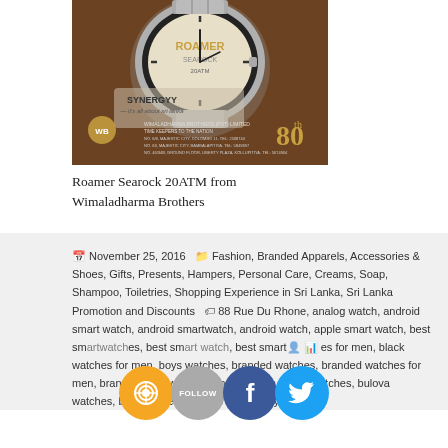[Figure (photo): Advertisement photo showing a Roamer Searock 20ATM watch on a wooden background with Synergyy branding and Wimaladharma Brothers store information, showing 80th anniversary.]
Roamer Searock 20ATM from Wimaladharma Brothers
November 25, 2016 Fashion, Branded Apparels, Accessories & Shoes, Gifts, Presents, Hampers, Personal Care, Creams, Soap, Shampoo, Toiletries, Shopping Experience in Sri Lanka, Sri Lanka Promotion and Discounts 88 Rue Du Rhone, analog watch, android smart watch, android smartwatch, android watch, apple smart watch, best smartwatches, best smartwatch, best smartwatch for men, best watches for men, black watches for men, boys watches, branded watches, branded watches for men, branded wrist watch for men, bulova ladies watches, bulova watches, buy branded watches online, buy